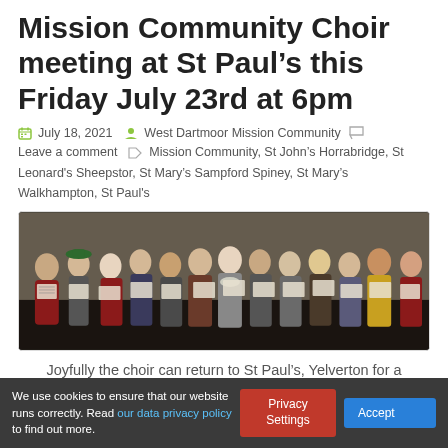Mission Community Choir meeting at St Paul's this Friday July 23rd at 6pm
July 18, 2021   West Dartmoor Mission Community   Leave a comment   Mission Community, St John's Horrabridge, St Leonard's Sheepstor, St Mary's Sampford Spiney, St Mary's Walkhampton, St Paul's
[Figure (photo): Group photo of choir members standing and holding sheet music, singing together in a church or hall setting.]
Joyfully the choir can return to St Paul's, Yelverton for a practice ahead of singing at the Archdeacon's visitation.
We use cookies to ensure that our website runs correctly. Read our data privacy policy to find out more.   Privacy Settings   Accept